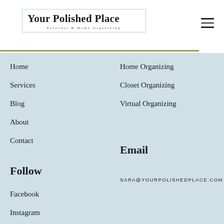Your Polished Place
Personal & Home Organizing
Home
Services
Blog
About
Contact
Home Organizing
Closet Organizing
Virtual Organizing
Follow
Email
Facebook
Instagram
Pinterest
SARA@YOURPOLISHEDPLACE.COM